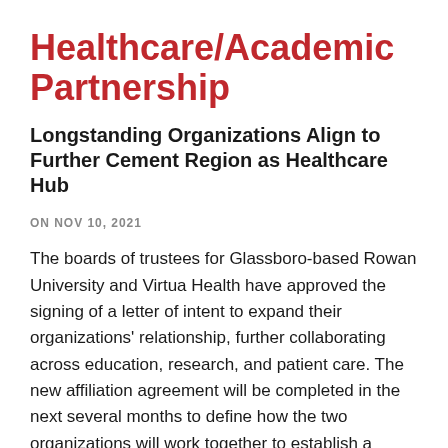Healthcare/Academic Partnership
Longstanding Organizations Align to Further Cement Region as Healthcare Hub
ON NOV 10, 2021
The boards of trustees for Glassboro-based Rowan University and Virtua Health have approved the signing of a letter of intent to expand their organizations' relationship, further collaborating across education, research, and patient care. The new affiliation agreement will be completed in the next several months to define how the two organizations will work together to establish a sought-after program for preparing the health and wellness workforce of the future, expanding the number and diversity of health professionals